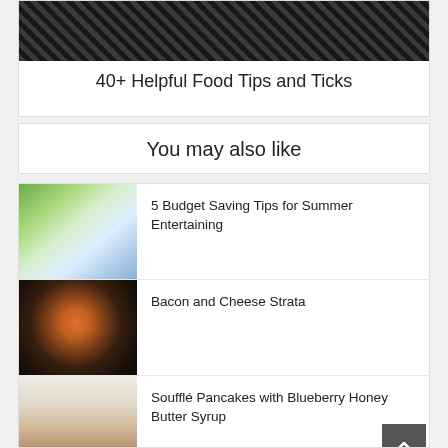[Figure (photo): Dark grill surface with food, partial photo visible at top of page]
40+ Helpful Food Tips and Ticks
You may also like
[Figure (photo): Outdoor summer entertaining table setting with flowers]
5 Budget Saving Tips for Summer Entertaining
[Figure (photo): Cast iron skillet with colorful vegetables on wooden table]
Bacon and Cheese Strata
[Figure (photo): Stack of fluffy pancakes with blueberries on a plate]
Soufflé Pancakes with Blueberry Honey Butter Syrup
[Figure (photo): Partially visible food image at bottom of page]